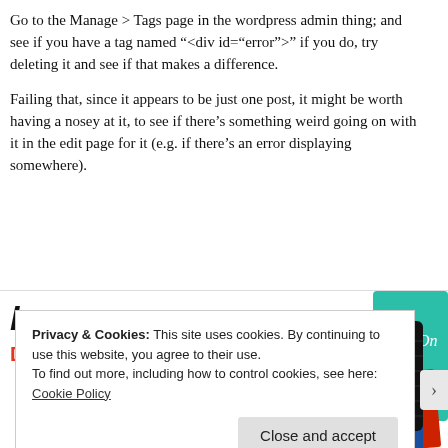Go to the Manage > Tags page in the wordpress admin thing; and see if you have a tag named "<div id="error">" if you do, try deleting it and see if that makes a difference.
Failing that, since it appears to be just one post, it might be worth having a nosey at it, to see if there's something weird going on with it in the edit page for it (e.g. if there's an error displaying somewhere).
[Figure (other): Advertisement banner showing 'lovers.' in bold italic text with 'Download now' in red, and a dark card with '99% INVISIBLE' text and a yellow square graphic, plus a teal card with 'On' text.]
Privacy & Cookies: This site uses cookies. By continuing to use this website, you agree to their use.
To find out more, including how to control cookies, see here: Cookie Policy
Close and accept